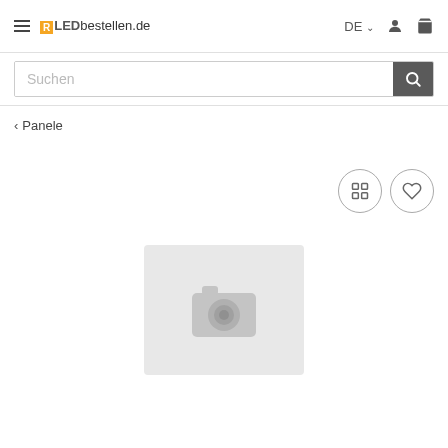LEDbestellen.de — DE — user — cart
Suchen
‹ Panele
[Figure (other): Two circular icon buttons: a list/compare icon and a heart/wishlist icon]
[Figure (other): Product image placeholder showing a grey camera icon on light grey background]